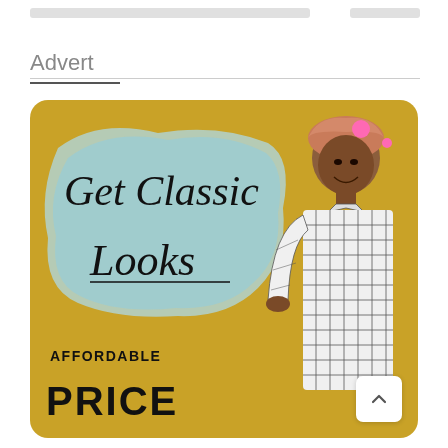Advert
[Figure (illustration): Fashion advertisement on golden-yellow background with a young woman wearing a pink/tan head wrap and white grid-pattern top. Blue watercolor paint splash in upper left with handwritten script text 'Get Classic Looks'. Pink decorative dots in upper right. Bottom left text reads 'AFFORDABLE' and 'PRICE' in bold black. A white scroll-to-top button with upward chevron is in the lower right corner.]